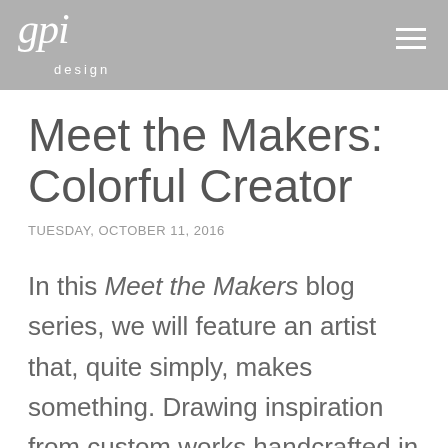gpi design
Meet the Makers: Colorful Creator
TUESDAY, OCTOBER 11, 2016
In this Meet the Makers blog series, we will feature an artist that, quite simply, makes something. Drawing inspiration from custom works handcrafted in various media, we